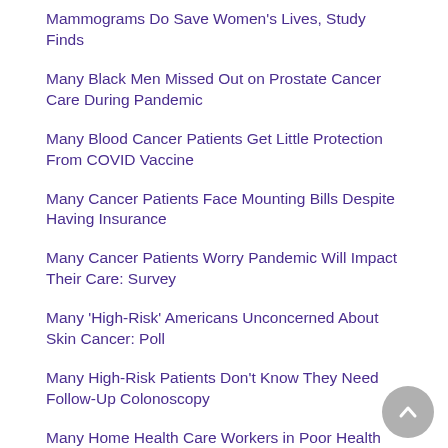Mammograms Do Save Women's Lives, Study Finds
Many Black Men Missed Out on Prostate Cancer Care During Pandemic
Many Blood Cancer Patients Get Little Protection From COVID Vaccine
Many Cancer Patients Face Mounting Bills Despite Having Insurance
Many Cancer Patients Worry Pandemic Will Impact Their Care: Survey
Many 'High-Risk' Americans Unconcerned About Skin Cancer: Poll
Many High-Risk Patients Don't Know They Need Follow-Up Colonoscopy
Many Home Health Care Workers in Poor Health Themselves
Many Thyroid Cancer Ultrasound Scans Unnecessary
Many U.S. Mammography Centers Aren't Following Expert Guidelines: Report